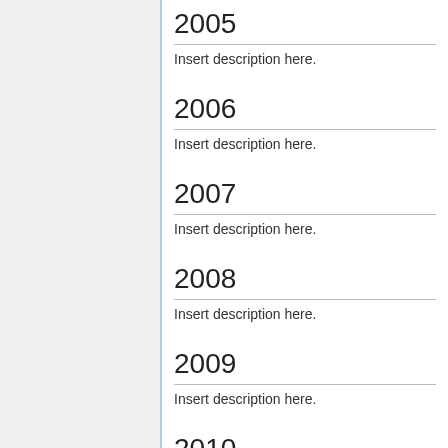2005
Insert description here.
2006
Insert description here.
2007
Insert description here.
2008
Insert description here.
2009
Insert description here.
2010
Insert description here.